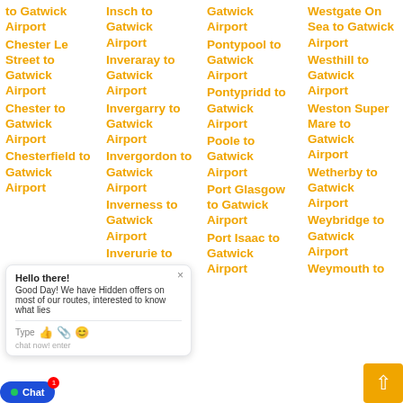to Gatwick Airport
Chester Le Street to Gatwick Airport
Chester to Gatwick Airport
Chesterfield to Gatwick Airport
Insch to Gatwick Airport
Inveraray to Gatwick Airport
Invergarry to Gatwick Airport
Invergordon to Gatwick Airport
Inverness to Gatwick Airport
Inverurie to Gatwick Airport
Gatwick Airport
Pontypool to Gatwick Airport
Pontypridd to Gatwick Airport
Poole to Gatwick Airport
Port Glasgow to Gatwick Airport
Port Isaac to Gatwick Airport
Westgate On Sea to Gatwick Airport
Westhill to Gatwick Airport
Weston Super Mare to Gatwick Airport
Wetherby to Gatwick Airport
Weybridge to Gatwick Airport
Weymouth to